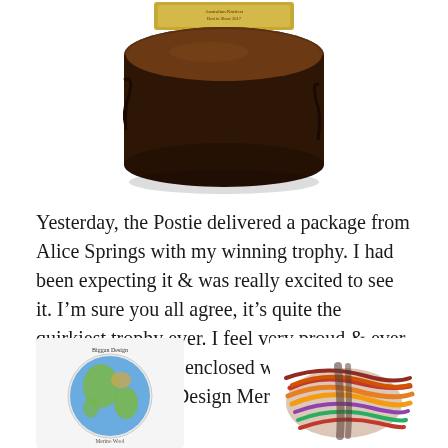[Figure (photo): A trophy made from a natural wood log slice with a golden plaque on top, viewed from slightly above.]
Yesterday, the Postie delivered a package from Alice Springs with my winning trophy. I had been expecting it & was really excited to see it. I'm sure you all agree, it's quite the quirkiest trophy ever. I feel very proud & ever so delighted. Also enclosed was a packet of beautiful Biggan Design Merino Wool in Autumn tones...
[Figure (photo): A circular label or packaging for Biggan Design Merino Wool, showing a colorful globe/earth design.]
[Figure (photo): A bundle of colorful Merino Wool yarn in autumn tones, showing various warm colors bundled together.]